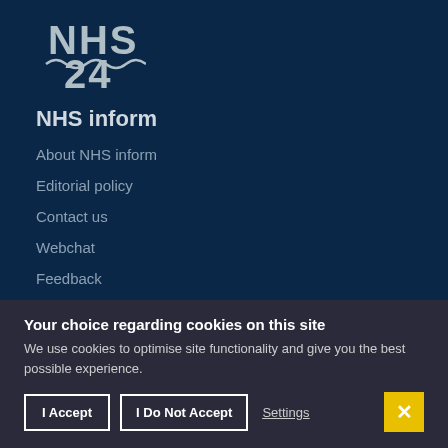[Figure (logo): NHS 24 logo with wave design in grey/blue on dark navy background]
NHS inform
About NHS inform
Editorial policy
Contact us
Webchat
Feedback
Your choice regarding cookies on this site
We use cookies to optimise site functionality and give you the best possible experience.
I Accept | I Do Not Accept | Settings | ×